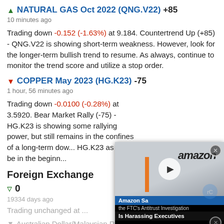▲ NATURAL GAS Oct 2022 (QNG.V22) +85
10 minutes ago
Trading down -0.152 (-1.63%) at 9.184. Countertrend Up (+85) - QNG.V22 is showing short-term weakness. However, look for the longer-term bullish trend to resume. As always, continue to monitor the trend score and utilize a stop order.
▼ COPPER May 2023 (HG.K23) -75
1 hour, 56 minutes ago
Trading down -0.0100 (-0.28%) at 3.5920. Bear Market Rally (-75) - HG.K23 is showing some rallying power, but still remains in the confines of a long-term dow... HG.K23 as it may be in the beginn...
Foreign Exchange
0
19334 days ago
Trading unchanged at ...
▼ Australian Dollar/Malaysian Ringt (AUDMYR) -85
3 days ago
[Figure (screenshot): Amazon video ad overlay showing Amazon warehouse with logo, play button, title 'Amazon Sa...' subtitle 'the FTC's Antitrust Investigation' main bar 'Is Harassing Executives' with close buttons]